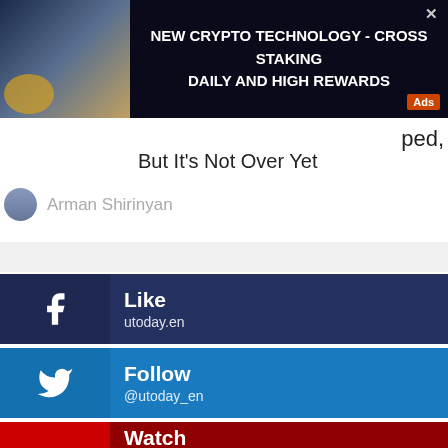08/22
[Figure (screenshot): Ad banner: NEW CRYPTO TECHNOLOGY - CROSS STAKING DAILY AND HIGH REWARDS with Ads badge and close button]
ped, But It's Not Over Yet
Arman Shirinyan
Like
utoday.en
Follow
@utoday_en
Watch
utoday
Join
@utoday_en